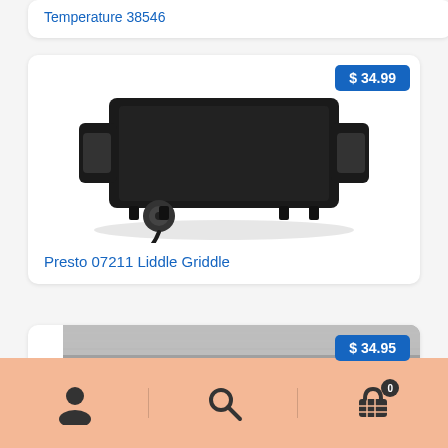Temperature 38546
[Figure (photo): Presto 07211 Liddle Griddle - black electric griddle with temperature control knob and cord]
$ 34.99
Presto 07211 Liddle Griddle
[Figure (photo): Partial view of a silver/metallic flat griddle surface]
$ 34.95